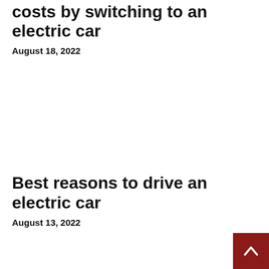costs by switching to an electric car
August 18, 2022
Best reasons to drive an electric car
August 13, 2022